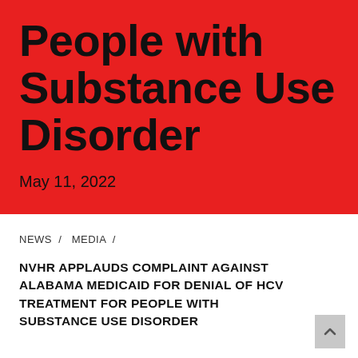People with Substance Use Disorder
May 11, 2022
NEWS  /  MEDIA  /
NVHR APPLAUDS COMPLAINT AGAINST ALABAMA MEDICAID FOR DENIAL OF HCV TREATMENT FOR PEOPLE WITH SUBSTANCE USE DISORDER